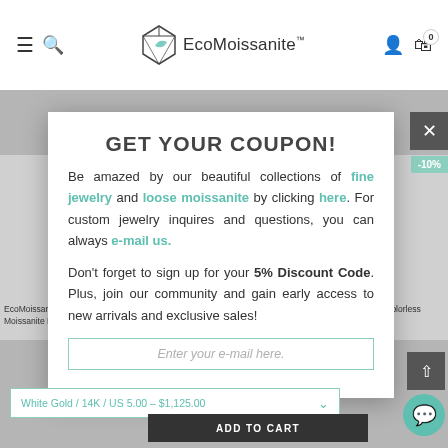EcoMoissanite™ — navigation bar with hamburger menu, search, logo, account, cart
[Figure (screenshot): Website screenshot showing EcoMoissanite e-commerce page with a coupon modal popup. Background shows product thumbnails with -10% badges. Modal contains coupon text, links, and email input.]
GET YOUR COUPON!
Be amazed by our beautiful collections of fine jewelry and loose moissanite by clicking here. For custom jewelry inquires and questions, you can always e-mail us.
Don't forget to sign up for your 5% Discount Code. Plus, join our community and gain early access to new arrivals and exclusive sales!
Enter your e-mail here.
EcoMoissanite 0.96 CTW Round Colorless Moissanite Honeycomb
EcoMoissanite 0.58 CTW Round Colorless Moissanite Honey Bee
White Gold / 14K / US 5.00 - $1,125.00
ADD TO CART